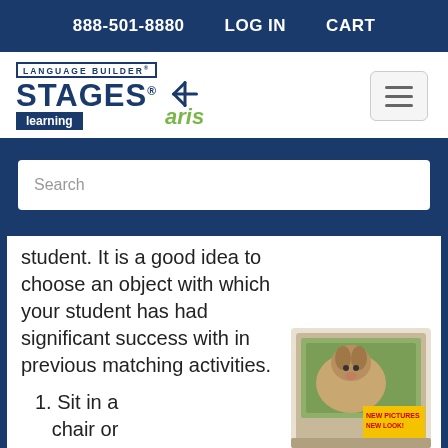888-501-8880   LOG IN   CART
[Figure (logo): Language Builder Stages Learning aris logo with navigation hamburger menu button]
Search
student. It is a good idea to choose an object with which your student has had significant success with in previous matching activities.
1. Sit in a chair or
[Figure (photo): Stages Learning product box with text NEW PICTURES NEW LOOK!]